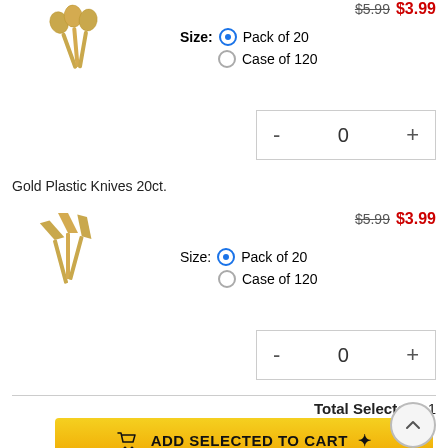[Figure (illustration): Gold plastic spoons fanned out, 3 spoons at an angle]
$5.99  $3.99
Size:  Pack of 20  Case of 120
0
Gold Plastic Knives 20ct.
[Figure (illustration): Gold plastic knives fanned out at an angle]
$5.99  $3.99
Size:  Pack of 20  Case of 120
0
Total Selected:  1
ADD SELECTED TO CART
More From 18.95" Plastic Disposable...